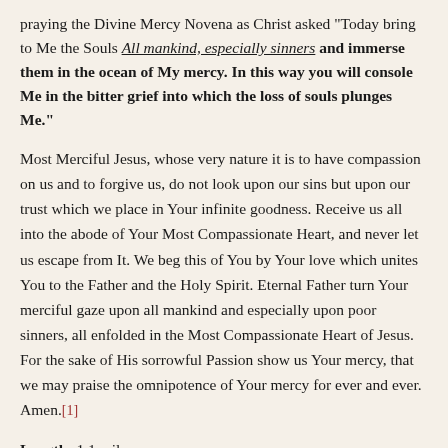praying the Divine Mercy Novena as Christ asked "Today bring to Me the Souls All mankind, especially sinners and immerse them in the ocean of My mercy. In this way you will console Me in the bitter grief into which the loss of souls plunges Me."
Most Merciful Jesus, whose very nature it is to have compassion on us and to forgive us, do not look upon our sins but upon our trust which we place in Your infinite goodness. Receive us all into the abode of Your Most Compassionate Heart, and never let us escape from It. We beg this of You by Your love which unites You to the Father and the Holy Spirit. Eternal Father turn Your merciful gaze upon all mankind and especially upon poor sinners, all enfolded in the Most Compassionate Heart of Jesus. For the sake of His sorrowful Passion show us Your mercy, that we may praise the omnipotence of Your mercy for ever and ever. Amen.[1]
Length: 1.1 miles
Rating: Easy
Use: Moderate